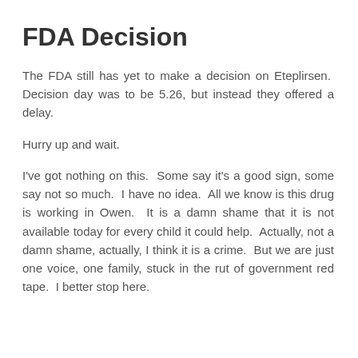FDA Decision
The FDA still has yet to make a decision on Eteplirsen.  Decision day was to be 5.26, but instead they offered a delay.
Hurry up and wait.
I've got nothing on this.  Some say it's a good sign, some say not so much.  I have no idea.  All we know is this drug is working in Owen.  It is a damn shame that it is not available today for every child it could help.  Actually, not a damn shame, actually, I think it is a crime.  But we are just one voice, one family, stuck in the rut of government red tape.  I better stop here.